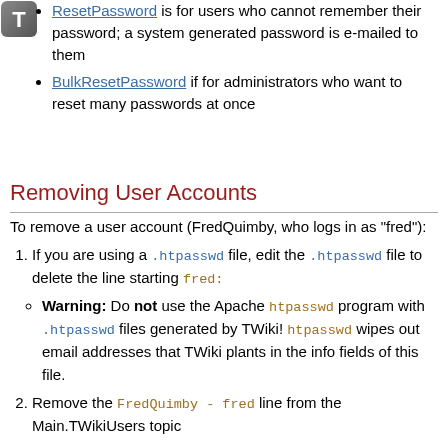ResetPassword is for users who cannot remember their password; a system generated password is e-mailed to them
BulkResetPassword if for administrators who want to reset many passwords at once
Removing User Accounts
To remove a user account (FredQuimby, who logs in as "fred"):
If you are using a .htpasswd file, edit the .htpasswd file to delete the line starting fred:
Warning: Do not use the Apache htpasswd program with .htpasswd files generated by TWiki! htpasswd wipes out email addresses that TWiki plants in the info fields of this file.
Remove the FredQuimby - fred line from the Main.TWikiUsers topic
Remove FredQuimby from all groups and from all the ALLOWWEB/ALLOWTOPIC... declarations, if any. Note: If you fail to do this you risk creating a security hole, as the next user to register with the wikiname